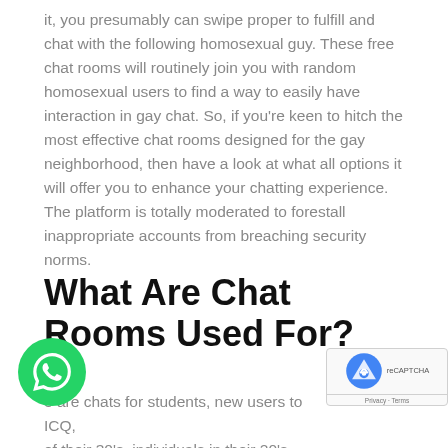it, you presumably can swipe proper to fulfill and chat with the following homosexual guy. These free chat rooms will routinely join you with random homosexual users to find a way to easily have interaction in gay chat. So, if you're keen to hitch the most effective chat rooms designed for the gay neighborhood, then have a look at what all options it will offer you to enhance your chatting experience. The platform is totally moderated to forestall inappropriate accounts from breaching security norms.
What Are Chat Rooms Used For?
e are chats for students, new users to ICQ, of their 30's, individuals in their 20's, folks from various components of the world, some lo...